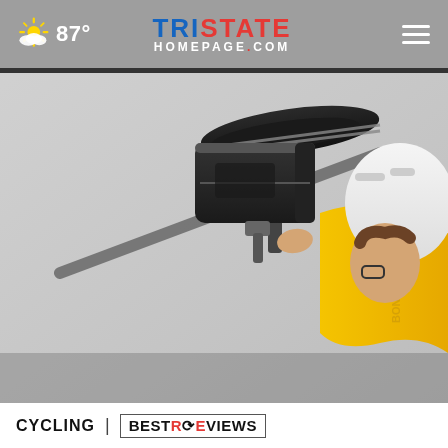87° | TRISTATE HOMEPAGE.com
[Figure (photo): A cyclist wearing a white helmet and yellow jersey is examining or adjusting a saddle bag attached under the seat of a bicycle. The bike seat and saddle bag are visible in close-up, with a wall in the background.]
CYCLING | BESTREVIEWS